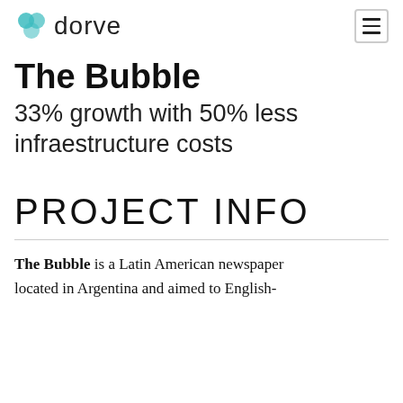dorve [logo with hamburger menu]
The Bubble
33% growth with 50% less infraestructure costs
PROJECT INFO
The Bubble is a Latin American newspaper located in Argentina and aimed to English-